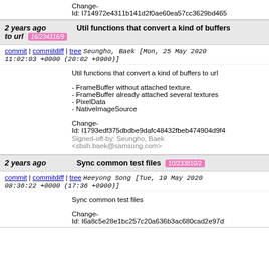Change-Id: I714972e4311b141d2f0ae60ea57cc3629bd465
2 years ago  Util functions that convert a kind of buffers to url  16/234316/9
commit | commitdiff | tree  Seungho, Baek [Mon, 25 May 2020 11:02:03 +0000 (20:02 +0900)]
Util functions that convert a kind of buffers to url

- FrameBuffer without attached texture.
- FrameBuffer already attached several textures
- PixelData
- NativeImageSource

Change-Id: I1793edf375dbdbe9dafc48432fbeb474904d9f4
Signed-off-by: Seungho, Baek <sbsh.baek@samsung.com>
2 years ago  Sync common test files  10/233810/2
commit | commitdiff | tree  Heeyong Song [Tue, 19 May 2020 08:36:22 +0000 (17:36 +0900)]
Sync common test files

Change-Id: I6a8c5e28e1bc257c20a636b3ac680cad2e97d